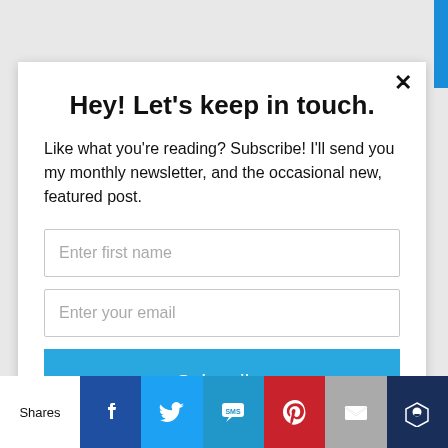Hey! Let's keep in touch.
Like what you're reading? Subscribe! I'll send you my monthly newsletter, and the occasional new, featured post.
Enter first name
Enter your email
Subscribe
Shares